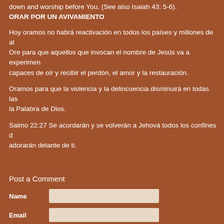down and worship before You. (See also Isaiah 43: 5-6).
ORAR POR UN AVIVAMIENTO
Hoy oramos no habrá reactivación en todos los países y millones de al... Ore para que aquellos que invocan el nombre de Jesús va a experimen... capaces de oír y recibir el perdón, el amor y la restauración.
Oramos para que la violencia y la delincuencia disminuirá en todas las... la Palabra de Dios.
Salmo 22:27 Se acordarán y se volverán a Jehová todos los confines d... adorarán delante de ti.
Post a Comment
Name
Email
Message